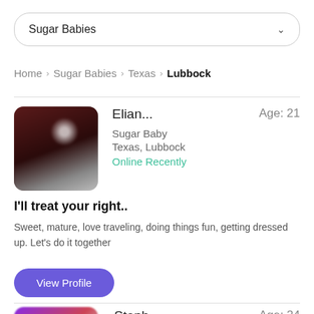Sugar Babies
Home > Sugar Babies > Texas > Lubbock
Elian... Age: 21
Sugar Baby
Texas, Lubbock
Online Recently
[Figure (photo): Blurred profile photo of a young woman with long dark hair taking a selfie]
I'll treat your right..
Sweet, mature, love traveling, doing things fun, getting dressed up. Let's do it together
View Profile
Steph... Age: 24
[Figure (photo): Partially visible blurred profile photo with purple/pink tones]